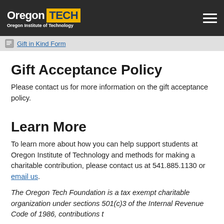Oregon Tech — Oregon Institute of Technology
Gift in Kind Form
Gift Acceptance Policy
Please contact us for more information on the gift acceptance policy.
Learn More
To learn more about how you can help support students at Oregon Institute of Technology and methods for making a charitable contribution, please contact us at 541.885.1130 or email us.
The Oregon Tech Foundation is a tax exempt charitable organization under sections 501(c)3 of the Internal Revenue Code of 1986, contributions t…